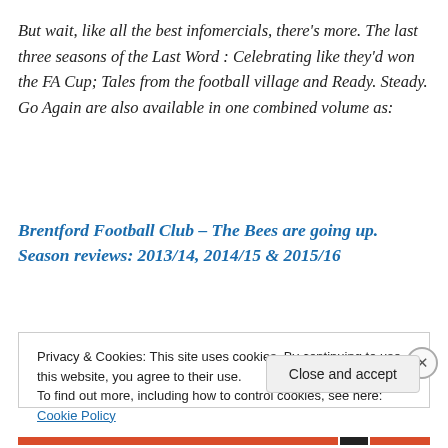But wait, like all the best infomercials, there's more. The last three seasons of the Last Word : Celebrating like they'd won the FA Cup; Tales from the football village and Ready. Steady. Go Again are also available in one combined volume as:
Brentford Football Club – The Bees are going up. Season reviews: 2013/14, 2014/15 & 2015/16
Privacy & Cookies: This site uses cookies. By continuing to use this website, you agree to their use.
To find out more, including how to control cookies, see here: Cookie Policy
Close and accept